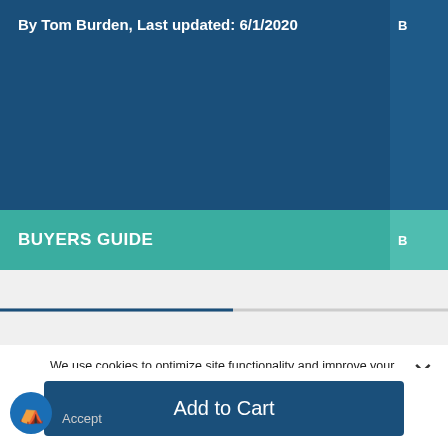By Tom Burden, Last updated: 6/1/2020
BUYERS GUIDE
We use cookies to optimize site functionality and improve your overall experience. You can change your cookie settings through your browser. By continuing to use this website, you're agreeing to our Privacy Policy and Terms of Use
Add to Cart